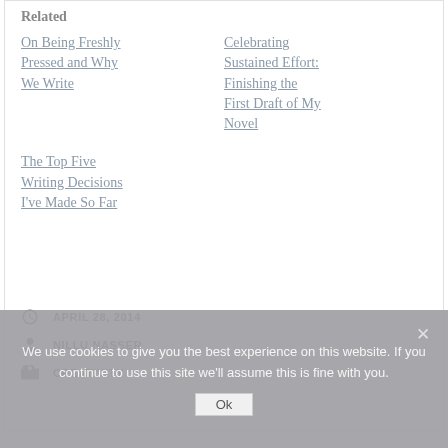Related
On Being Freshly Pressed and Why We Write
Celebrating Sustained Effort: Finishing the First Draft of My Novel
The Top Five Writing Decisions I've Made So Far
APRIL 28, 2014
NILLU NASSER
CREATIVITY
We use cookies to give you the best experience on this website. If you continue to use this site we'll assume this is fine with you.